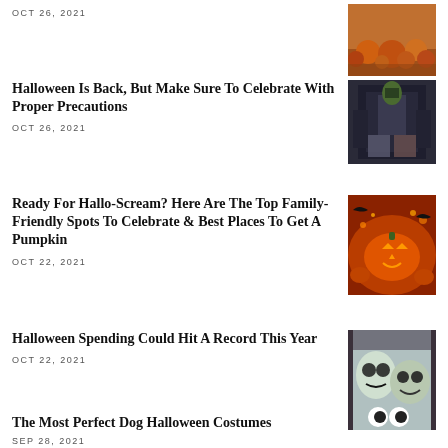OCT 26, 2021
[Figure (photo): Pumpkins in a field with hay]
Halloween Is Back, But Make Sure To Celebrate With Proper Precautions
OCT 26, 2021
[Figure (photo): Halloween costume store display]
Ready For Hallo-Scream? Here Are The Top Family-Friendly Spots To Celebrate & Best Places To Get A Pumpkin
OCT 22, 2021
[Figure (photo): Glowing jack-o-lanterns]
Halloween Spending Could Hit A Record This Year
OCT 22, 2021
[Figure (photo): Halloween masks and costumes]
The Most Perfect Dog Halloween Costumes
SEP 28, 2021